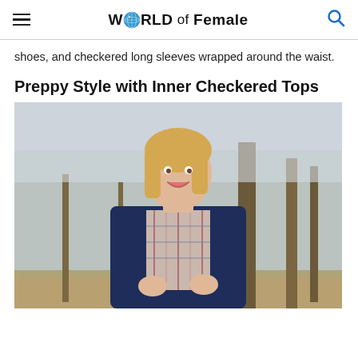WORLDof Female
shoes, and checkered long sleeves wrapped around the waist.
Preppy Style with Inner Checkered Tops
[Figure (photo): A smiling blonde woman wearing a navy blazer over a plaid/checkered shirt, standing outdoors among bare winter trees. She is holding her blazer lapels and smiling at the camera.]